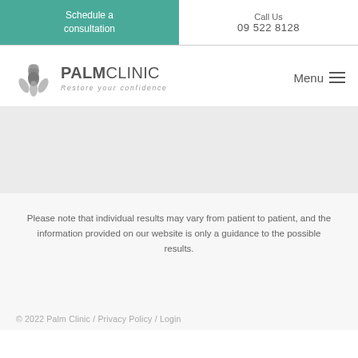Schedule a consultation | Call Us 09 522 8128
[Figure (logo): Palm Clinic logo with lotus/artichoke icon and tagline 'Restore your confidence']
Please note that individual results may vary from patient to patient, and the information provided on our website is only a guidance to the possible results.
© 2022 Palm Clinic / Privacy Policy / Login